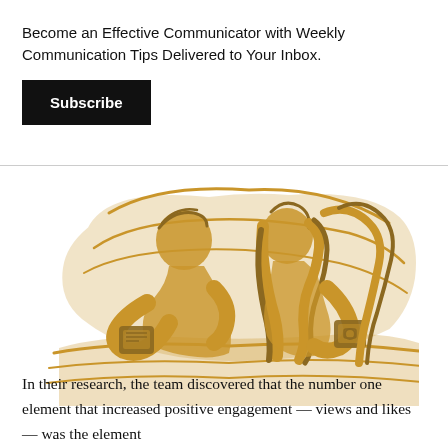Become an Effective Communicator with Weekly Communication Tips Delivered to Your Inbox.
Subscribe
[Figure (illustration): Golden line-art illustration of a man and a woman lying in bed, each looking at their smartphones, with pillows behind them.]
In their research, the team discovered that the number one element that increased positive engagement — views and likes — was the element